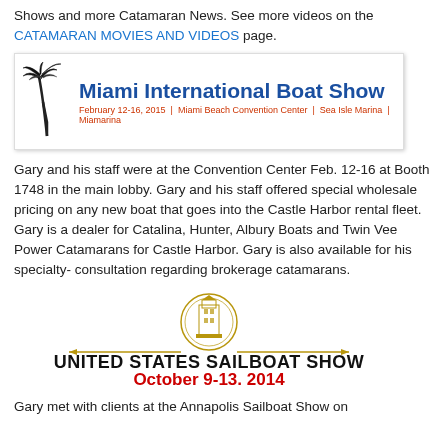Shows and more Catamaran News. See more videos on the CATAMARAN MOVIES AND VIDEOS page.
[Figure (logo): Miami International Boat Show logo with palm tree icon, blue bold title text, and red subtitle: February 12-16, 2015 | Miami Beach Convention Center | Sea Isle Marina | Miamarina]
Gary and his staff were at the Convention Center Feb. 12-16 at Booth 1748 in the main lobby. Gary and his staff offered special wholesale pricing on any new boat that goes into the Castle Harbor rental fleet. Gary is a dealer for Catalina, Hunter, Albury Boats and Twin Vee Power Catamarans for Castle Harbor. Gary is also available for his specialty- consultation regarding brokerage catamarans.
[Figure (logo): United States Sailboat Show logo with golden lighthouse/building emblem, horizontal gold decorative lines, black bold text UNITED STATES SAILBOAT SHOW, and red text October 9-13, 2014]
Gary met with clients at the Annapolis Sailboat Show on